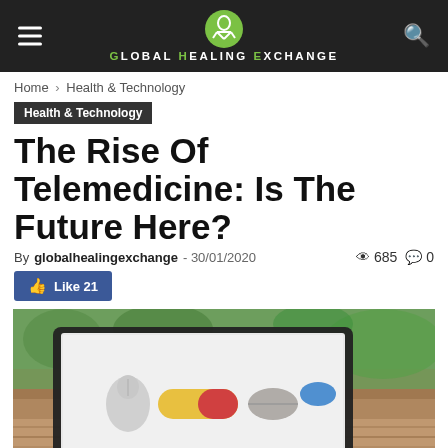Global Healing Exchange
Home › Health & Technology
Health & Technology
The Rise Of Telemedicine: Is The Future Here?
By globalhealingexchange - 30/01/2020   685   0
Like 21
[Figure (photo): Laptop computer on a wooden table outdoors showing a mouse cursor and pills (a yellow-red capsule, a grey tablet, and a blue tablet) on its screen, with a blurred garden background.]